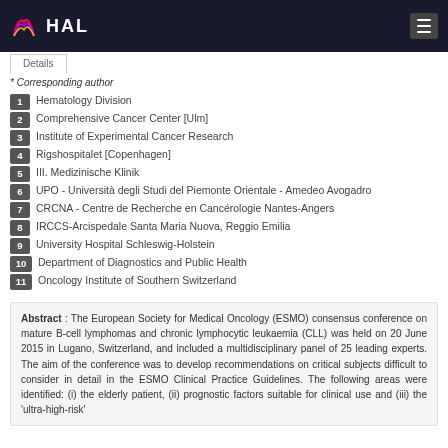HAL
* Corresponding author
1 Hematology Division
2 Comprehensive Cancer Center [Ulm]
3 Institute of Experimental Cancer Research
4 Rigshospitalet [Copenhagen]
5 III. Medizinische Klinik
6 UPO - Università degli Studi del Piemonte Orientale - Amedeo Avogadro
7 CRCNA - Centre de Recherche en Cancérologie Nantes-Angers
8 IRCCS-Arcispedale Santa Maria Nuova, Reggio Emilia
9 University Hospital Schleswig-Holstein
10 Department of Diagnostics and Public Health
11 Oncology Institute of Southern Switzerland
Abstract : The European Society for Medical Oncology (ESMO) consensus conference on mature B-cell lymphomas and chronic lymphocytic leukaemia (CLL) was held on 20 June 2015 in Lugano, Switzerland, and included a multidisciplinary panel of 25 leading experts. The aim of the conference was to develop recommendations on critical subjects difficult to consider in detail in the ESMO Clinical Practice Guidelines. The following areas were identified: (i) the elderly patient, (ii) prognostic factors suitable for clinical use and (iii) the 'ultra-high-risk'